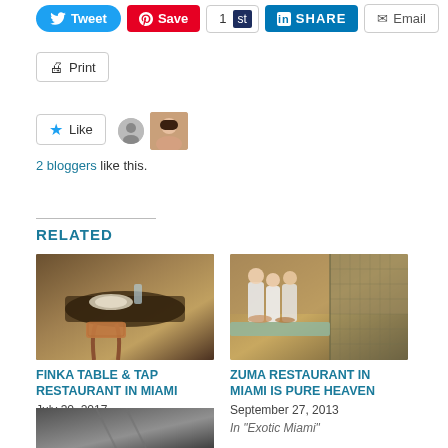[Figure (screenshot): Social sharing buttons row: Tweet (Twitter/blue), Save (Pinterest/red), count button showing 1 and 'st', SHARE (LinkedIn/blue), Email (grey outline)]
[Figure (screenshot): Print button with printer icon]
[Figure (screenshot): Like button with star icon, two avatar images beside it]
2 bloggers like this.
RELATED
[Figure (photo): Photo of restaurant table and wicker chairs at Finka Table & Tap]
FINKA TABLE & TAP RESTAURANT IN MIAMI
July 30, 2017
In “In A Few Words”
[Figure (photo): Photo of Zuma Restaurant kitchen with chefs in white uniforms]
ZUMA RESTAURANT IN MIAMI IS PURE HEAVEN
September 27, 2013
In “Exotic Miami”
[Figure (photo): Partial photo of a third restaurant, cropped at bottom of page]